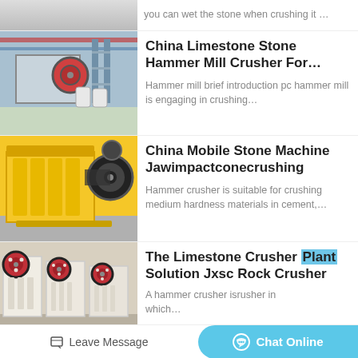[Figure (photo): Partial view of industrial machinery, cropped at top]
you can wet the stone when crushing it …
[Figure (photo): Factory interior with industrial stone hammer mill crusher machinery]
China Limestone Stone Hammer Mill Crusher For…
Hammer mill brief introduction pc hammer mill is engaging in crushing…
[Figure (photo): Yellow mobile stone jaw impact cone crushing machine]
China Mobile Stone Machine Jawimpactconecrushing
Hammer crusher is suitable for crushing medium hardness materials in cement,…
[Figure (photo): Row of limestone crusher plant jaw crusher machines with red and white coloring]
The Limestone Crusher Plant Solution Jxsc Rock Crusher
A hammer crusher isrusher in which…
Leave Message   Chat Online